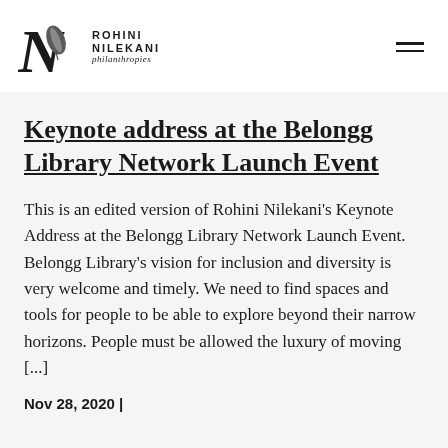ROHINI NILEKANI philanthropies
Keynote address at the Belongg Library Network Launch Event
This is an edited version of Rohini Nilekani's Keynote Address at the Belongg Library Network Launch Event. Belongg Library's vision for inclusion and diversity is very welcome and timely. We need to find spaces and tools for people to be able to explore beyond their narrow horizons. People must be allowed the luxury of moving [...]
Nov 28, 2020 |